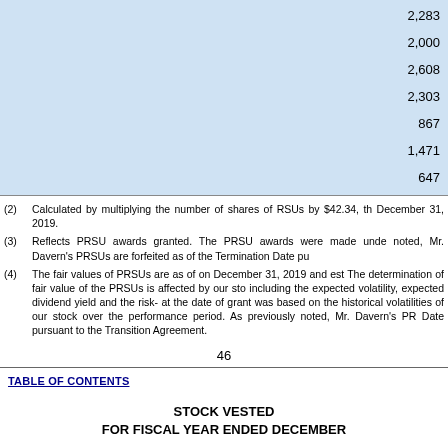| 2,283 |
| 2,000 |
| 2,608 |
| 2,303 |
| 867 |
| 1,471 |
| 647 |
(2) Calculated by multiplying the number of shares of RSUs by $42.34, th December 31, 2019.
(3) Reflects PRSU awards granted. The PRSU awards were made unde noted, Mr. Davern's PRSUs are forfeited as of the Termination Date pu
(4) The fair values of PRSUs are as of on December 31, 2019 and est The determination of fair value of the PRSUs is affected by our sto including the expected volatility, expected dividend yield and the risk- at the date of grant was based on the historical volatilities of our stock over the performance period. As previously noted, Mr. Davern's PR Date pursuant to the Transition Agreement.
46
TABLE OF CONTENTS
STOCK VESTED
FOR FISCAL YEAR ENDED DECEMBER